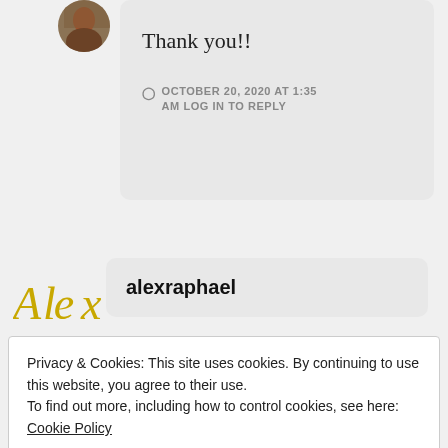[Figure (photo): Circular avatar photo of a user, partially visible at top of page]
Thank you!!
OCTOBER 20, 2020 AT 1:35 AM LOG IN TO REPLY
[Figure (logo): Alex logo in gold/yellow stylized lettering]
alexraphael
Privacy & Cookies: This site uses cookies. By continuing to use this website, you agree to their use.
To find out more, including how to control cookies, see here: Cookie Policy
Close and accept